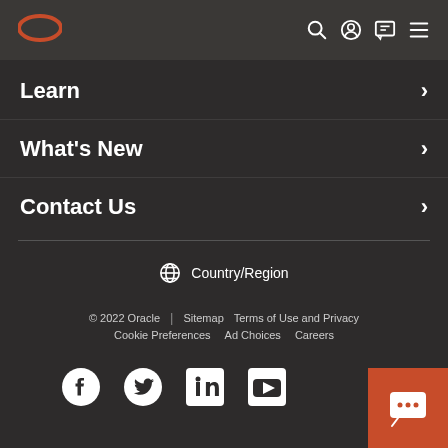Oracle navigation header with logo and icons
Learn
What's New
Contact Us
Country/Region
© 2022 Oracle | Sitemap  Terms of Use and Privacy  Cookie Preferences  Ad Choices  Careers
[Figure (logo): Social media icons: Facebook, Twitter, LinkedIn, YouTube]
[Figure (other): Orange chat button with speech bubble icon in bottom right corner]